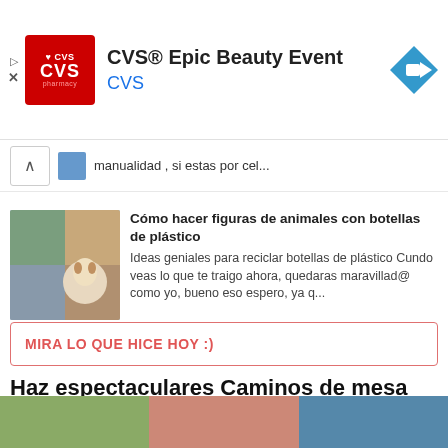[Figure (screenshot): CVS Pharmacy advertisement banner with red CVS logo, text 'CVS® Epic Beauty Event' and blue arrow icon on right]
manualidad , si estas por cel...
Cómo hacer figuras de animales con botellas de plástico
Ideas geniales para reciclar botellas de plástico Cundo veas lo que te traigo ahora, quedaras maravillad@ como yo, bueno eso espero, ya q...
MIRA LO QUE HICE HOY :)
Haz espectaculares Caminos de mesa con globos
10 Modelos de caminos de mesa usando globos ¡¡ Hola amigos !! Muchas veces hemos visto hermosos caminos de mesa hechos de lino, bordados a...
[Figure (photo): Three thumbnail images at the bottom of the page]